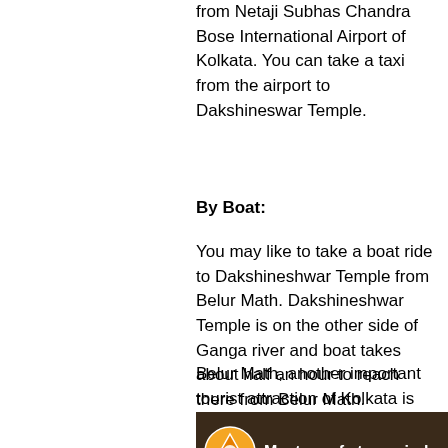from Netaji Subhas Chandra Bose International Airport of Kolkata. You can take a taxi from the airport to Dakshineswar Temple.
By Boat:
You may like to take a boat ride to Dakshineshwar Temple from Belur Math. Dakshineshwar Temple is on the other side of Ganga river and boat takes about half an hour to reach there from Belur Math.
Belur Math, another important tourist attraction of Kolkata is located at a distance of 3 km from Dakshineswar Temple and it is a ‘must visit’ place.
[Figure (screenshot): Video thumbnail showing a logo with triangle and text 'Mystery of stone circles dec' on dark background]